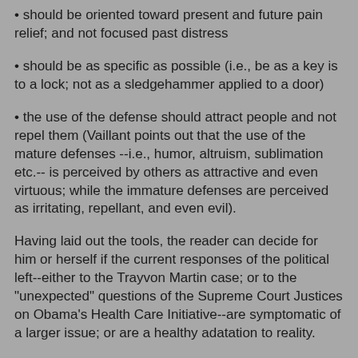• should be oriented toward present and future pain relief; and not focused past distress
• should be as specific as possible (i.e., be as a key is to a lock; not as a sledgehammer applied to a door)
• the use of the defense should attract people and not repel them (Vaillant points out that the use of the mature defenses --i.e., humor, altruism, sublimation etc.-- is perceived by others as attractive and even virtuous; while the immature defenses are perceived as irritating, repellant, and even evil).
Having laid out the tools, the reader can decide for him or herself if the current responses of the political left--either to the Trayvon Martin case; or to the "unexpected" questions of the Supreme Court Justices on Obama's Health Care Initiative--are symptomatic of a larger issue; or are a healthy adatation to reality.
Now, what happens when psychological denial ceases to be unconscious and becomes deliberate, willful, and consciously evil behavior-- in spite of all the accumulated